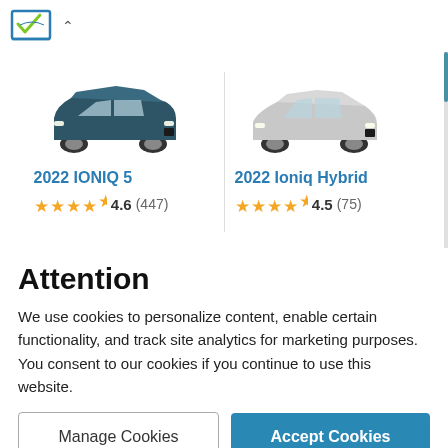[Figure (logo): Car dealership review website logo with stylized checkmark/car icon in blue and green]
[Figure (photo): 2022 IONIQ 5 dark teal SUV vehicle image]
2022 IONIQ 5
★★★★½ 4.6 (447)
[Figure (photo): 2022 Ioniq Hybrid silver sedan vehicle image]
2022 Ioniq Hybrid
★★★★½ 4.5 (75)
Attention
We use cookies to personalize content, enable certain functionality, and track site analytics for marketing purposes. You consent to our cookies if you continue to use this website.
Manage Cookies
Accept Cookies